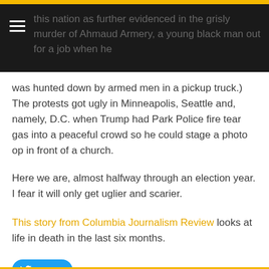this nation as further evidenced in the grisly murder of Ahmaud Armery, a young black man out for a job when he
was hunted down by armed men in a pickup truck.) The protests got ugly in Minneapolis, Seattle and, namely, D.C. when Trump had Park Police fire tear gas into a peaceful crowd so he could stage a photo op in front of a church.
Here we are, almost halfway through an election year. I fear it will only get uglier and scarier.
This story from Columbia Journalism Review looks at life in death in the last six months.
[Figure (other): Tweet button with Twitter bird icon]
0 Comments